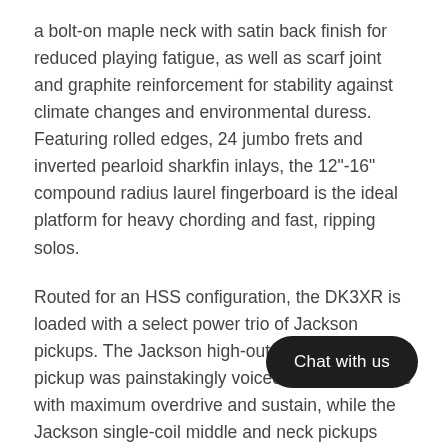a bolt-on maple neck with satin back finish for reduced playing fatigue, as well as scarf joint and graphite reinforcement for stability against climate changes and environmental duress. Featuring rolled edges, 24 jumbo frets and inverted pearloid sharkfin inlays, the 12"-16" compound radius laurel fingerboard is the ideal platform for heavy chording and fast, ripping solos.
Routed for an HSS configuration, the DK3XR is loaded with a select power trio of Jackson pickups. The Jackson high-output humbucking pickup was painstakingly voiced for full, rich tone with maximum overdrive and sustain, while the Jackson single-coil middle and neck pickups deliver that tried-and-true Strat sound. Explore this instrument's sonic palette with a five-way switch and single volume and tone controls, and dive bomb at will with reliable tuning stability from the Jackson-branded Floyd